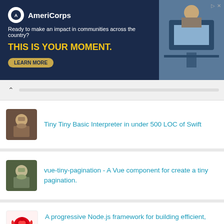[Figure (screenshot): AmeriCorps advertisement banner: dark navy background with AmeriCorps logo, text 'Ready to make an impact in communities across the country? THIS IS YOUR MOMENT.' with a LEARN MORE button. Right side shows a photo of students at computers.]
Tiny Tiny Basic Interpreter in under 500 LOC of Swift
vue-tiny-pagination - A Vue component for create a tiny pagination.
A progressive Node.js framework for building efficient, scalable, and enterprise-grade server-side applications on top of TypeScript & JavaScript (ES6, ES7, ES8) 🦅
Framework X – the simple and fast micro framework for building reactive web applications that run anywhere.